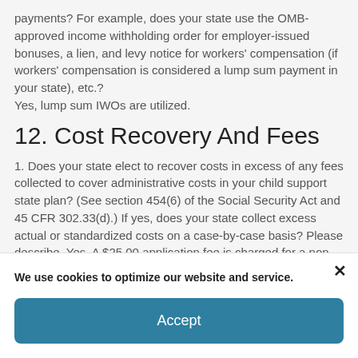payments? For example, does your state use the OMB-approved income withholding order for employer-issued bonuses, a lien, and levy notice for workers' compensation (if workers' compensation is considered a lump sum payment in your state), etc.? Yes, lump sum IWOs are utilized.
12. Cost Recovery And Fees
1. Does your state elect to recover costs in excess of any fees collected to cover administrative costs in your child support state plan? (See section 454(6) of the Social Security Act and 45 CFR 302.33(d).) If yes, does your state collect excess actual or standardized costs on a case-by-case basis? Please describe. Yes. A $25.00 application fee is charged for a non-IV-D child support applicant. A $35.00 Deficit Reduction Act (DRA) fee is
We use cookies to optimize our website and service.
Accept